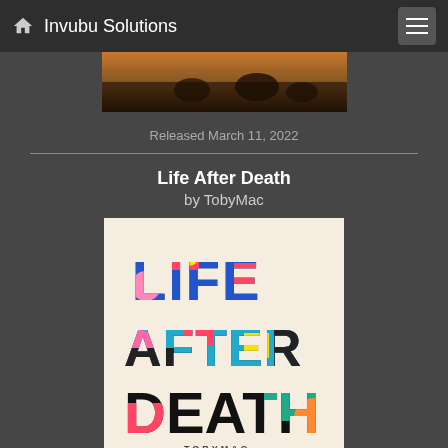Invubu Solutions
Released March 11, 2022
Life After Death
by TobyMac
[Figure (illustration): Album cover for Life After Death by TobyMac. Colorful graphic text on cream background with the words LIFE AFTER DEATH in bold letters filled with colorful abstract shapes and patterns. TOBYMAC written at the bottom.]
Released August 19, 2022